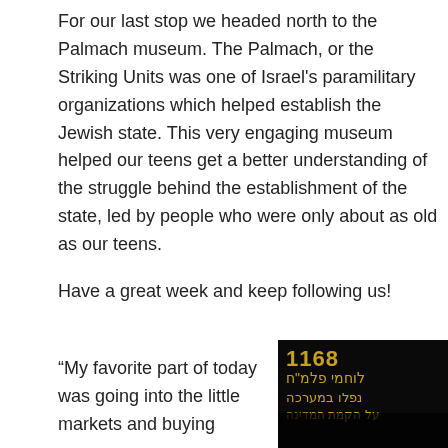For our last stop we headed north to the Palmach museum. The Palmach, or the Striking Units was one of Israel's paramilitary organizations which helped establish the Jewish state. This very engaging museum helped our teens get a better understanding of the struggle behind the establishment of the state, led by people who were only about as old as our teens.
Have a great week and keep following us!
“My favorite part of today was going into the little markets and buying some
[Figure (photo): Dark photograph showing illuminated Hebrew text reading '1168 לוחמי פלמ"ח נפלו במערכה על הקמת המדינה' (1168 Palmach fighters fell in the battle for the establishment of the state), with silhouettes of people in the foreground.]